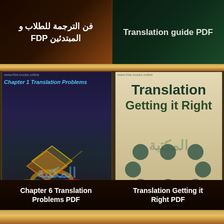[Figure (screenshot): Top-left book cover thumbnail: Arabic text 'فن الترجمة للطلاب و المبتدئين PDF' on dark brown background]
[Figure (screenshot): Top-right book cover thumbnail: 'Translation guide PDF' on dark green background]
[Figure (screenshot): Bottom-left book cover: 'Chapter 1 Translation Problems' with Arabic watermark المكتبة, colorful geometric pattern]
[Figure (screenshot): Bottom-right book cover: 'Translation Getting it Right' with dark circle pattern on cream background and Arabic watermark]
Chapter 6 Translation Problems PDF
Translation Getting it Right PDF